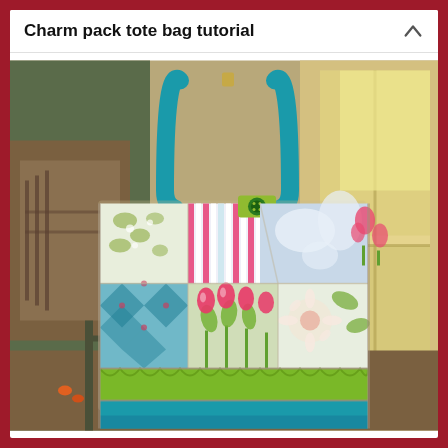Charm pack tote bag tutorial
[Figure (photo): A handmade patchwork tote bag with colorful fabric squares featuring floral and stripe patterns, blue solid bottom panel, green ruffle band, teal blue handles, and a green button closure. The bag is hanging on a door or chair near a window with natural light.]